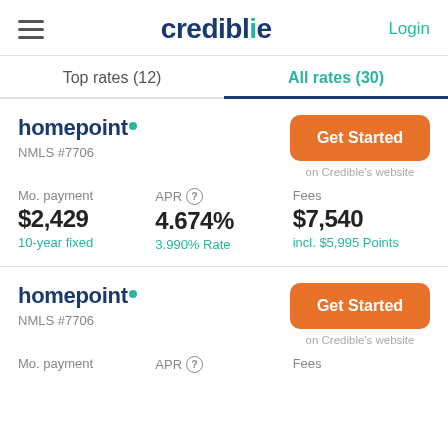credible — Login
Top rates (12)   All rates (30)
homepoint
NMLS #7706
Mo. payment $2,429 10-year fixed
APR 4.674% 3.990% Rate
Fees $7,540 incl. $5,995 Points
Get Started on Credible's website
homepoint
NMLS #7706
Mo. payment
APR
Fees
Get Started on Credible's website